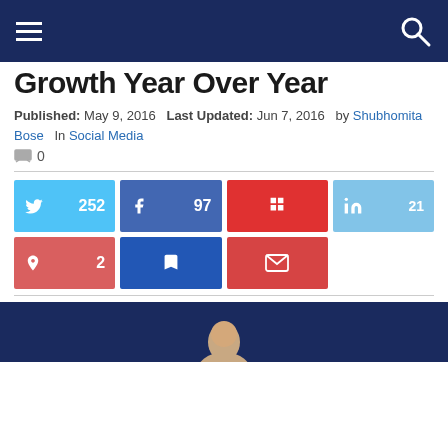Navigation bar with hamburger menu and search icon
Growth Year Over Year
Published: May 9, 2016   Last Updated: Jun 7, 2016   by Shubhomita Bose   In Social Media
0 comments
[Figure (infographic): Social share buttons: Twitter 252, Facebook 97, Flipboard (no count), LinkedIn 21, Pinterest 2, Bookmark, Email]
[Figure (photo): Person's head visible at bottom in dark blue background strip]